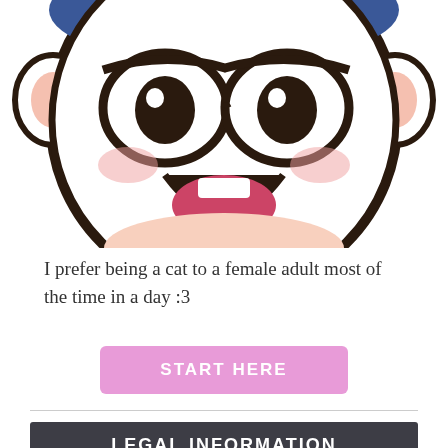[Figure (illustration): Partial view of a cartoon kawaii-style cat or panda character face — round white face with large dark-rimmed glasses, open smiling mouth, rosy cheeks, and blue/dark hair accessories visible at top, with a pink rounded chin/neck area below.]
I prefer being a cat to a female adult most of the time in a day :3
START HERE
LEGAL INFORMATION
StyleKawaii.Com is dedicated to providing its readers with an entertaining experience each and every time you visit. While there are costs involved in running a website, we wish to keep the use of advertisements to an absolute minimum. To help make this possible